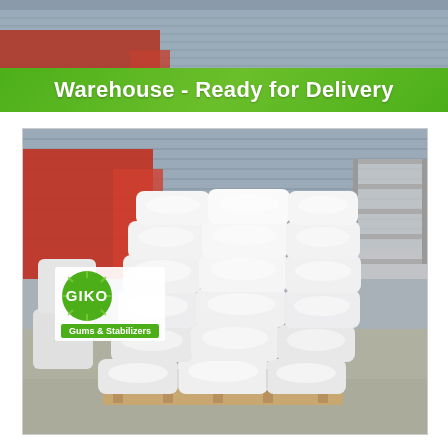[Figure (photo): Top strip photo of a warehouse exterior with red truck and corrugated metal building in background]
Warehouse - Ready for Delivery
[Figure (photo): Large stack of white polypropylene bags/sacks piled on a pallet in a warehouse yard, with GIKO Gums & Stabilizers logo overlay in top-left corner. Red truck and metal shelving visible in background.]